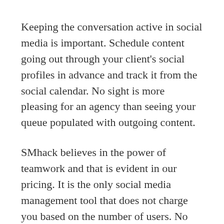Keeping the conversation active in social media is important. Schedule content going out through your client's social profiles in advance and track it from the social calendar. No sight is more pleasing for an agency than seeing your queue populated with outgoing content.
SMhack believes in the power of teamwork and that is evident in our pricing. It is the only social media management tool that does not charge you based on the number of users. No more writing the login credentials on whiteboards or sharing them on Slack. Get all your users onboard and get cracking on social.
Send a personalized report to your client. Use [White-labeled tool logo directly on the report]